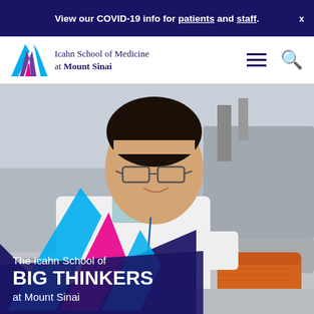View our COVID-19 info for patients and staff.
[Figure (logo): Icahn School of Medicine at Mount Sinai logo with stylized M icon in blue, purple, and pink stripes]
Icahn School of Medicine at Mount Sinai
[Figure (photo): A researcher in a white lab coat and orange heat-resistant gloves works at a laboratory bench, looking down at equipment]
The Icahn School of BIG THINKERS at Mount Sinai